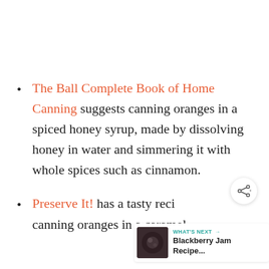The Ball Complete Book of Home Canning suggests canning oranges in a spiced honey syrup, made by dissolving honey in water and simmering it with whole spices such as cinnamon.
Preserve It! has a tasty recipe canning oranges in a caramel